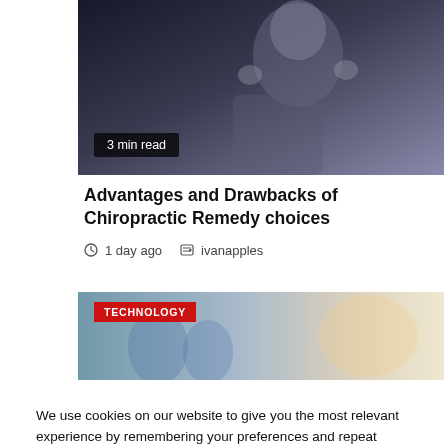[Figure (photo): Woman holding her head/neck, partial view, dark background, with '3 min read' badge overlay]
Advantages and Drawbacks of Chiropractic Remedy choices
1 day ago  ivanapples
[Figure (photo): Technology category image with people, 'TECHNOLOGY' red badge overlay]
We use cookies on our website to give you the most relevant experience by remembering your preferences and repeat visits. By clicking "Accept All", you consent to the use of ALL the cookies. However, you may visit "Cookie Settings" to provide a controlled consent.
Cookie Settings  Accept All